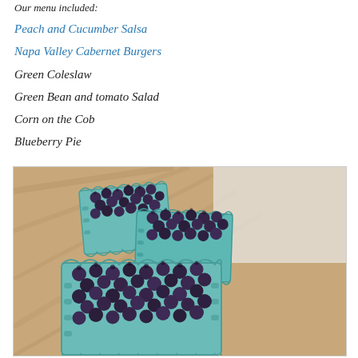Our menu included:
Peach and Cucumber Salsa
Napa Valley Cabernet Burgers
Green Coleslaw
Green Bean and tomato Salad
Corn on the Cob
Blueberry Pie
[Figure (photo): Three blue cardboard berry containers filled with fresh blueberries, photographed from above on a wooden surface]